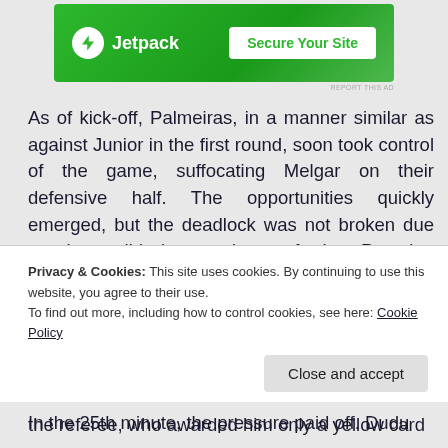[Figure (other): Jetpack advertisement banner with green background, Jetpack logo on left and 'Secure Your Site' button on right]
REPORT THIS AD
As of kick-off, Palmeiras, in a manner similar as against Junior in the first round, soon took control of the game, suffocating Melgar on their defensive half. The opportunities quickly emerged, but the deadlock was not broken due to the solid interventions of the Peruvian goalkeeper.
In the 25th minute, the pressure paid off. Dudu
Privacy & Cookies: This site uses cookies. By continuing to use this website, you agree to their use.
To find out more, including how to control cookies, see here: Cookie Policy
Close and accept
the referee, who awarded him only a yellow card